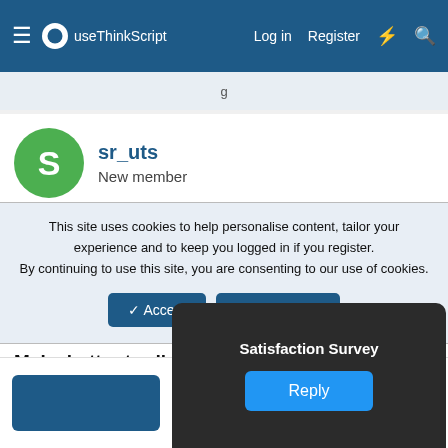useThinkScript | Log in | Register
sr_uts
New member
This site uses cookies to help personalise content, tailor your experience and to keep you logged in if you register. By continuing to use this site, you are consenting to our use of cookies.
Accept | Learn more...
Make better trading decisions with less noise
Join useThinkScript to stay update to date on the latest indicators, trade strategies, and tips for thinkorswim.
Satisfaction Survey
Reply